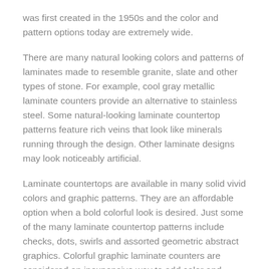was first created in the 1950s and the color and pattern options today are extremely wide.
There are many natural looking colors and patterns of laminates made to resemble granite, slate and other types of stone. For example, cool gray metallic laminate counters provide an alternative to stainless steel. Some natural-looking laminate countertop patterns feature rich veins that look like minerals running through the design. Other laminate designs may look noticeably artificial.
Laminate countertops are available in many solid vivid colors and graphic patterns. They are an affordable option when a bold colorful look is desired. Just some of the many laminate countertop patterns include checks, dots, swirls and assorted geometric abstract graphics. Colorful graphic laminate counters are considered an inexpensive way to add color and design to a small bland kitchen or bathroom. There is almost as much selection in laminate countertop colors, finishes and patterns as there is in fabrics.
Edges are an important consideration when choosing a laminate countertop. The three main edge styles are straight, bevel and